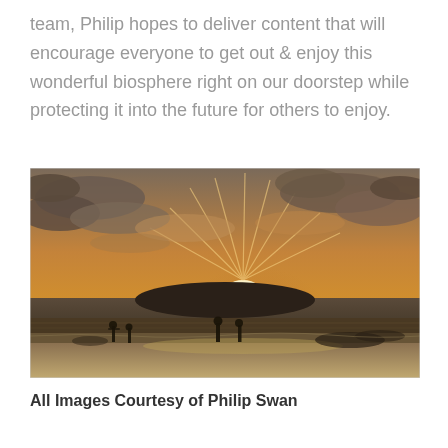team, Philip hopes to deliver content that will encourage everyone to get out & enjoy this wonderful biosphere right on our doorstep while protecting it into the future for others to enjoy.
[Figure (photo): Sunset beach photograph showing rays of sunlight breaking through clouds over a calm sea with a silhouetted island on the horizon and three people standing on the sandy beach in the foreground.]
All Images Courtesy of Philip Swan